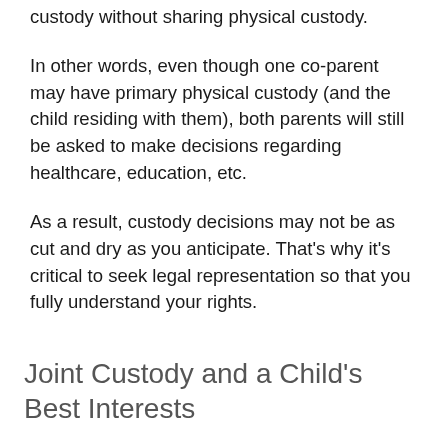custody without sharing physical custody.
In other words, even though one co-parent may have primary physical custody (and the child residing with them), both parents will still be asked to make decisions regarding healthcare, education, etc.
As a result, custody decisions may not be as cut and dry as you anticipate. That's why it's critical to seek legal representation so that you fully understand your rights.
Joint Custody and a Child's Best Interests
Judges make joint custody rulings based on the best interests of a child. Certain extenuating circumstances may affect a custody outcome, however. These include:
Domestic violence